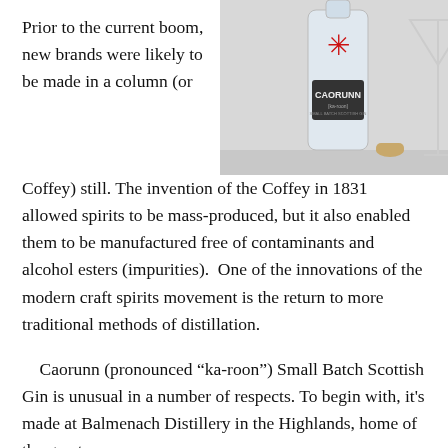[Figure (photo): Photo of Caorunn gin bottle with a red asterisk on the label, alongside a martini glass and a cork stopper, on a white background.]
Prior to the current boom, new brands were likely to be made in a column (or Coffey) still. The invention of the Coffey in 1831 allowed spirits to be mass-produced, but it also enabled them to be manufactured free of contaminants and alcohol esters (impurities).  One of the innovations of the modern craft spirits movement is the return to more traditional methods of distillation.
Caorunn (pronounced “ka-roon”) Small Batch Scottish Gin is unusual in a number of respects. To begin with, it's made at Balmenach Distillery in the Highlands, home of the great